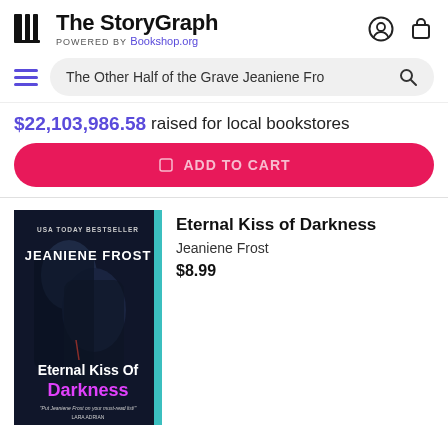[Figure (logo): The StoryGraph logo with stacked book icon, text 'The StoryGraph', and 'POWERED BY Bookshop.org']
The Other Half of the Grave Jeaniene Fro (search bar)
$22,103,986.58 raised for local bookstores
ADD TO CART (button)
[Figure (photo): Book cover for 'Eternal Kiss of Darkness' by Jeaniene Frost (USA Today Bestseller) showing two figures in a dark romantic pose with pink title text]
Eternal Kiss of Darkness
Jeaniene Frost
$8.99